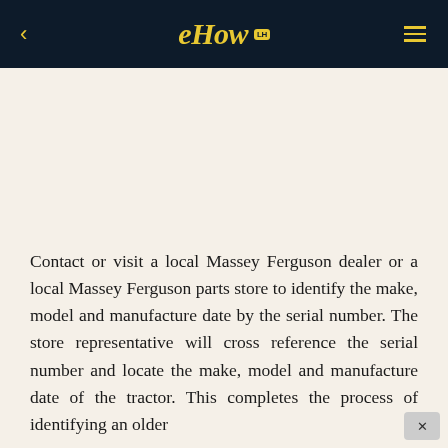eHow
Contact or visit a local Massey Ferguson dealer or a local Massey Ferguson parts store to identify the make, model and manufacture date by the serial number. The store representative will cross reference the serial number and locate the make, model and manufacture date of the tractor. This completes the process of identifying an older